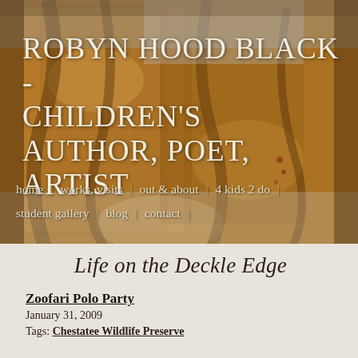[Figure (photo): Textured reddish-brown background image resembling bark or aged paper, used as website header background]
ROBYN HOOD BLACK - CHILDREN'S AUTHOR, POET, ARTIST
home | works, visits | out & about | 4 kids 2 do | student gallery | blog | contact |
Life on the Deckle Edge
Zoofari Polo Party
January 31, 2009
Tags: Chestatee Wildlife Preserve